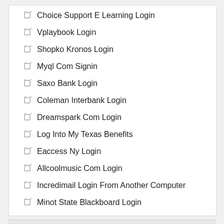Choice Support E Learning Login
Vplaybook Login
Shopko Kronos Login
Myql Com Signin
Saxo Bank Login
Coleman Interbank Login
Dreamspark Com Login
Log Into My Texas Benefits
Eaccess Ny Login
Allcoolmusic Com Login
Incredimail Login From Another Computer
Minot State Blackboard Login